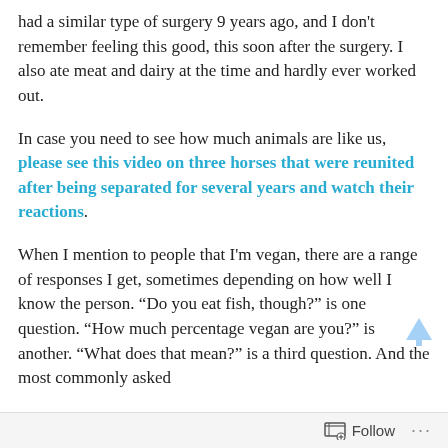had a similar type of surgery 9 years ago, and I don't remember feeling this good, this soon after the surgery. I also ate meat and dairy at the time and hardly ever worked out.
In case you need to see how much animals are like us, please see this video on three horses that were reunited after being separated for several years and watch their reactions.
When I mention to people that I'm vegan, there are a range of responses I get, sometimes depending on how well I know the person. “Do you eat fish, though?” is one question. “How much percentage vegan are you?” is another. “What does that mean?” is a third question. And the most commonly asked
Follow ...